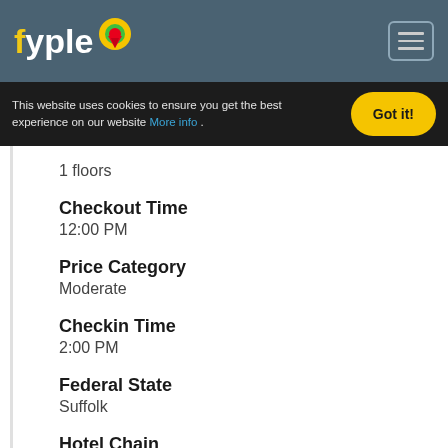fyple — navigation header with logo and hamburger menu
This website uses cookies to ensure you get the best experience on our website More info . Got it!
1 floors
Checkout Time
12:00 PM
Price Category
Moderate
Checkin Time
2:00 PM
Federal State
Suffolk
Hotel Chain